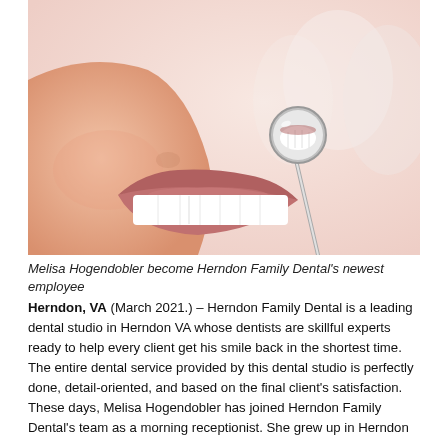[Figure (photo): Close-up photo of a person smiling with bright white teeth, with a dental mirror/explorer tool held up reflecting the teeth. Light pink/beige background.]
Melisa Hogendobler become Herndon Family Dental's newest employee
Herndon, VA (March 2021.) – Herndon Family Dental is a leading dental studio in Herndon VA whose dentists are skillful experts ready to help every client get his smile back in the shortest time. The entire dental service provided by this dental studio is perfectly done, detail-oriented, and based on the final client's satisfaction. These days, Melisa Hogendobler has joined Herndon Family Dental's team as a morning receptionist. She grew up in Herndon